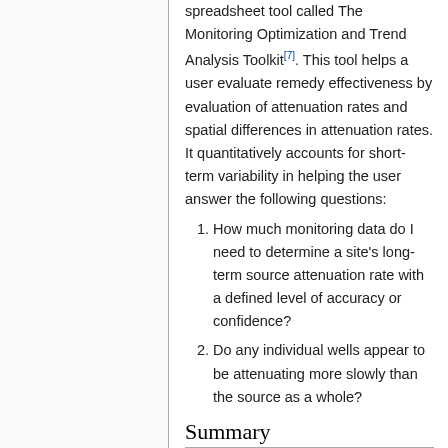spreadsheet tool called The Monitoring Optimization and Trend Analysis Toolkit[7]. This tool helps a user evaluate remedy effectiveness by evaluation of attenuation rates and spatial differences in attenuation rates. It quantitatively accounts for short-term variability in helping the user answer the following questions:
How much monitoring data do I need to determine a site's long-term source attenuation rate with a defined level of accuracy or confidence?
Do any individual wells appear to be attenuating more slowly than the source as a whole?
Summary